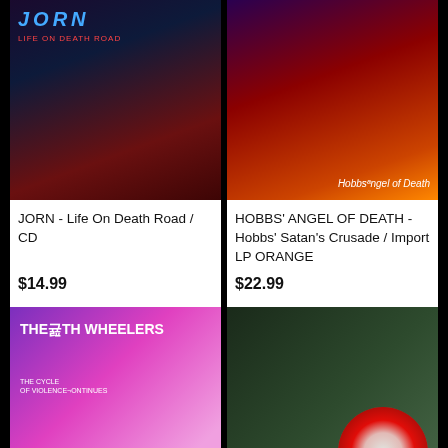[Figure (photo): JORN - Life On Death Road album cover, dark fantasy artwork with blue and red lighting]
[Figure (photo): HOBBS' ANGEL OF DEATH - Hobbs' Satan's Crusade album cover with figure surrounded by flames on orange vinyl]
JORN - Life On Death Road / CD
$14.99
HOBBS' ANGEL OF DEATH - Hobbs' Satan's Crusade / Import LP ORANGE
$22.99
[Figure (photo): The Death Wheelers - The Cycle of Violence Continues album cover, purple and pink with motorcycle imagery]
[Figure (photo): Album with dark green cover and red/white splatter vinyl record visible]